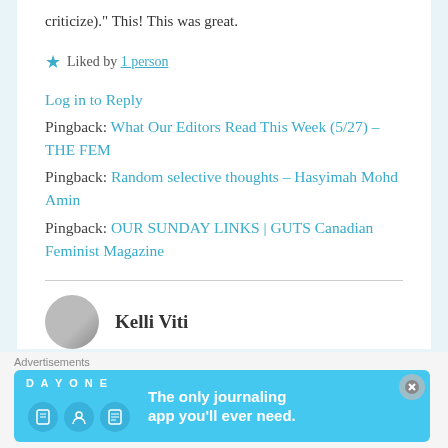criticize)." This! This was great.
★ Liked by 1 person
Log in to Reply
Pingback: What Our Editors Read This Week (5/27) – THE FEM
Pingback: Random selective thoughts – Hasyimah Mohd Amin
Pingback: OUR SUNDAY LINKS | GUTS Canadian Feminist Magazine
Kelli Viti
[Figure (infographic): Day One journaling app advertisement banner with blue background, app icons, and text: The only journaling app you'll ever need.]